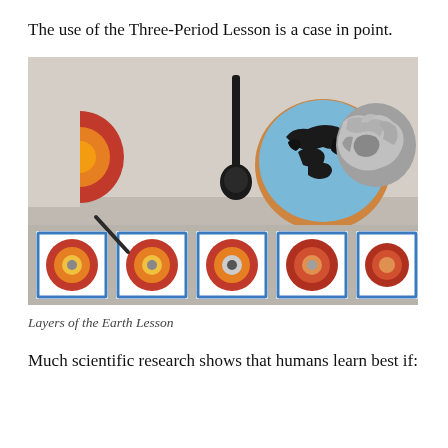The use of the Three-Period Lesson is a case in point.
[Figure (photo): A classroom photo showing Montessori Layers of the Earth lesson materials: a cross-section model showing red/orange layers, a black ladle/spoon, a blue and black globe model in a round dish, a crumpled foil ball, all laid on a white cloth. In the foreground is a strip of blue-bordered cards showing cross-section diagrams of Earth's layers.]
Layers of the Earth Lesson
Much scientific research shows that humans learn best if: